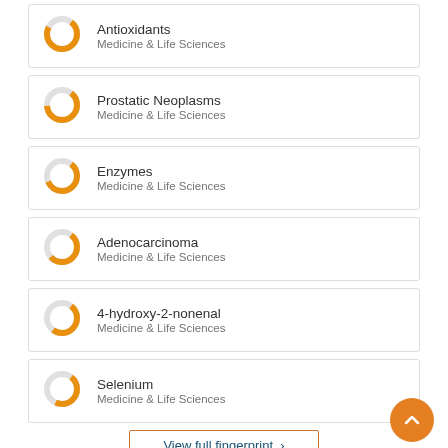Antioxidants — Medicine & Life Sciences
Prostatic Neoplasms — Medicine & Life Sciences
Enzymes — Medicine & Life Sciences
Adenocarcinoma — Medicine & Life Sciences
4-hydroxy-2-nonenal — Medicine & Life Sciences
Selenium — Medicine & Life Sciences
View full fingerprint >